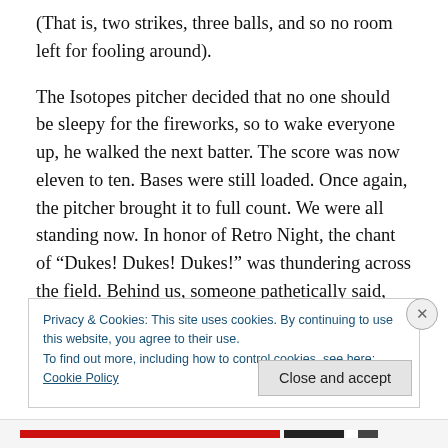(That is, two strikes, three balls, and so no room left for fooling around).
The Isotopes pitcher decided that no one should be sleepy for the fireworks, so to wake everyone up, he walked the next batter. The score was now eleven to ten. Bases were still loaded. Once again, the pitcher brought it to full count. We were all standing now. In honor of Retro Night, the chant of “Dukes! Dukes! Dukes!” was thundering across the field. Behind us, someone pathetically said, “But I want the fireworks…”
Privacy & Cookies: This site uses cookies. By continuing to use this website, you agree to their use.
To find out more, including how to control cookies, see here: Cookie Policy